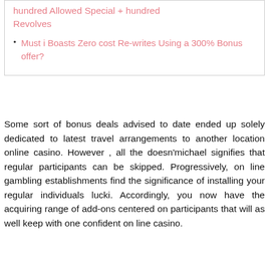hundred Allowed Special + hundred Revolves
Must i Boasts Zero cost Re-writes Using a 300% Bonus offer?
Some sort of bonus deals advised to date ended up solely dedicated to latest travel arrangements to another location online casino. However , all the doesn'michael signifies that regular participants can be skipped. Progressively, on line gambling establishments find the significance of installing your regular individuals lucki. Accordingly, you now have the acquiring range of add-ons centered on participants that will as well keep with one confident on line casino.